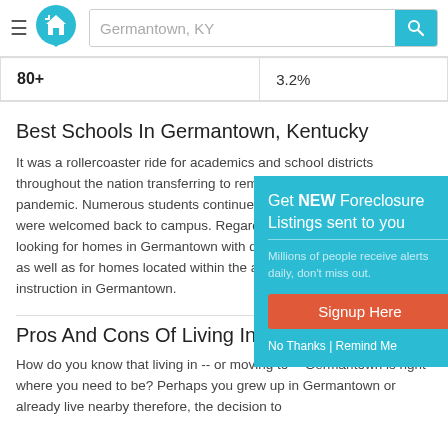Germantown, KY
| 80+ | 3.2% |
Best Schools In Germantown, Kentucky
It was a rollercoaster ride for academics and school districts throughout the nation transferring to remote because of the global pandemic. Numerous students continue online courses, while others were welcomed back to campus. Regardless, homebuyers are looking for homes in Germantown with dedicated in-person classes, as well as for homes located within the areas offering in-person instruction in Germantown.
[Figure (infographic): Popup advertisement: Get NEW Foreclosure Listings sent to you. Millions of people receive alerts daily, don't miss out. Signup Here button. No Thanks | Remind Me links.]
Pros And Cons Of Living In Germa...
How do you know that living in -- or moving to -- Germantown is right where you need to be? Perhaps you grew up in Germantown or already live nearby therefore, the decision to